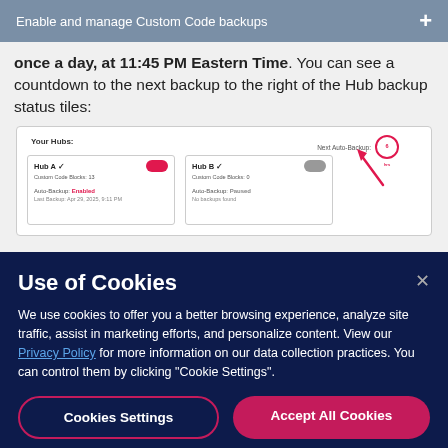Enable and manage Custom Code backups
once a day, at 11:45 PM Eastern Time. You can see a countdown to the next backup to the right of the Hub backup status tiles:
[Figure (screenshot): Screenshot showing 'Your Hubs:' section with Hub A (Auto-Backup: Enabled, toggle on, pink) and Hub B (Auto-Backup: Paused, toggle off, grey), with a 'Next Auto-Backup: 6 hrs' countdown timer and a red arrow pointing to it.]
Use of Cookies
We use cookies to offer you a better browsing experience, analyze site traffic, assist in marketing efforts, and personalize content. View our Privacy Policy for more information on our data collection practices. You can control them by clicking "Cookie Settings".
Cookies Settings
Accept All Cookies